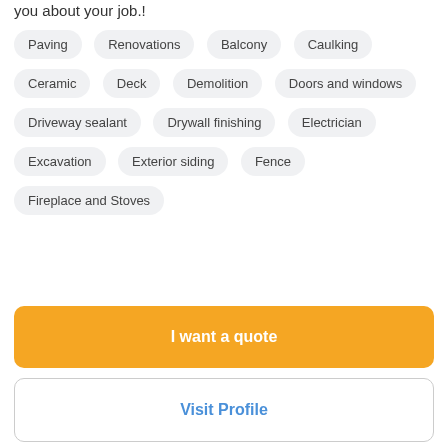you about your job.!
Paving
Renovations
Balcony
Caulking
Ceramic
Deck
Demolition
Doors and windows
Driveway sealant
Drywall finishing
Electrician
Excavation
Exterior siding
Fence
Fireplace and Stoves
I want a quote
Visit Profile